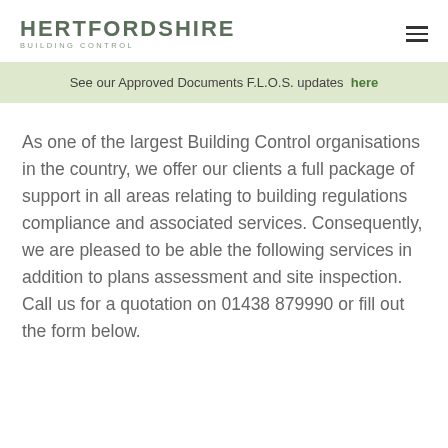HERTFORDSHIRE BUILDING CONTROL
See our Approved Documents F.L.O.S. updates here
As one of the largest Building Control organisations in the country, we offer our clients a full package of support in all areas relating to building regulations compliance and associated services. Consequently, we are pleased to be able the following services in addition to plans assessment and site inspection. Call us for a quotation on 01438 879990 or fill out the form below.